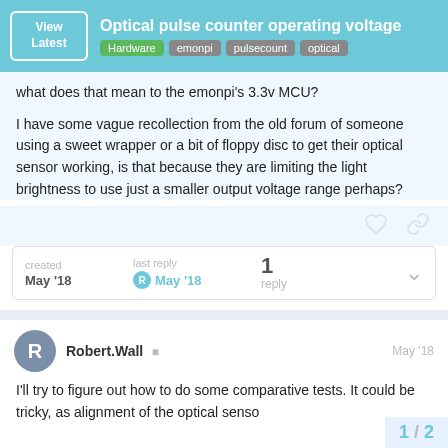Optical pulse counter operating voltage | Hardware | emonpi | pulsecount | optical
what does that mean to the emonpi's 3.3v MCU?
I have some vague recollection from the old forum of someone using a sweet wrapper or a bit of floppy disc to get their optical sensor working, is that because they are limiting the light brightness to use just a smaller output voltage range perhaps?
created May '18 | last reply May '18 | 1 reply
Robert.Wall | May '18
I'll try to figure out how to do some comparative tests. It could be tricky, as alignment of the optical senso
1 / 2